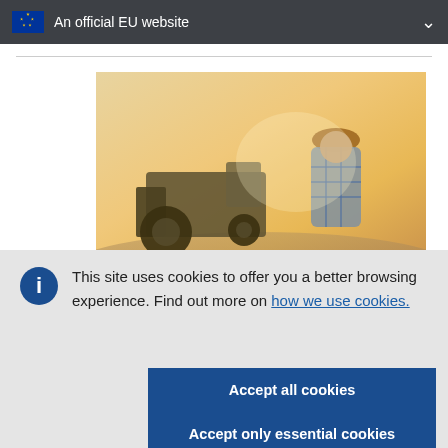An official EU website
[Figure (photo): A farmer from behind wearing a plaid shirt and hat, with a tractor visible in the background against a warm sunset sky]
This site uses cookies to offer you a better browsing experience. Find out more on how we use cookies.
Accept all cookies
Accept only essential cookies